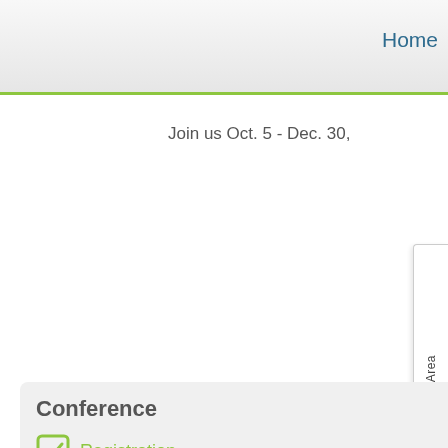Home
Join us Oct. 5 - Dec. 30,
Delegates Area
Presenta
Conference
Registration
Group Registration
Student Registration
Schedule
Speakers
Topics & Abstracts
Continuing Education Units
Preventing and Healing
Newsletter
S
P
D
C